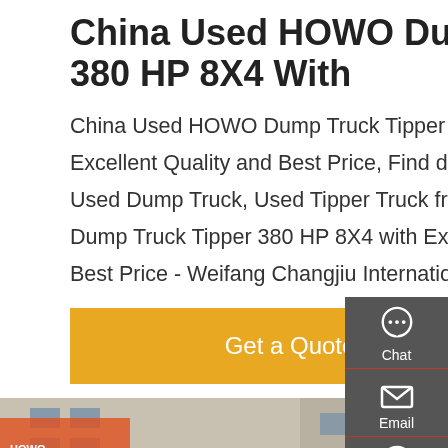China Used HOWO Dump Truck Tipper 380 HP 8X4 With
China Used HOWO Dump Truck Tipper 380 HP 8X4 with Excellent Quality and Best Price, Find details about China Used Dump Truck, Used Tipper Truck from Used HOWO Dump Truck Tipper 380 HP 8X4 with Excellent Quality and Best Price - Weifang Changjiu International Trading Co., Ltd.
[Figure (other): Yellow 'Get a Quote' button]
[Figure (photo): Red HOWO dump trucks parked in front of a commercial building]
[Figure (infographic): Dark sidebar with Chat, Email, Contact, and Top navigation icons]